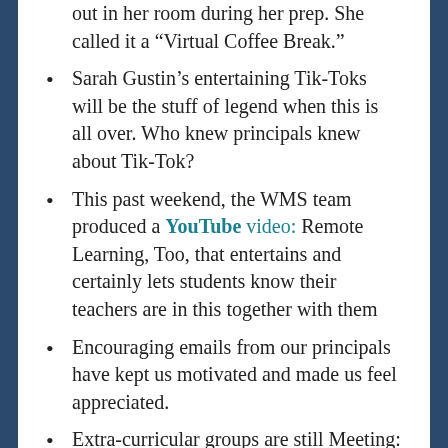out in her room during her prep. She called it a “Virtual Coffee Break.”
Sarah Gustin’s entertaining Tik-Toks will be the stuff of legend when this is all over. Who knew principals knew about Tik-Tok?
This past weekend, the WMS team produced a YouTube video: Remote Learning, Too, that entertains and certainly lets students know their teachers are in this together with them
Encouraging emails from our principals have kept us motivated and made us feel appreciated.
Extra-curricular groups are still Meeting: Speech Team gatherings, World Food Prize, Academic Academic Super Bowl for starters.
At ETM, Band and Choir recruited current 5th graders using the school’s Facebook page.